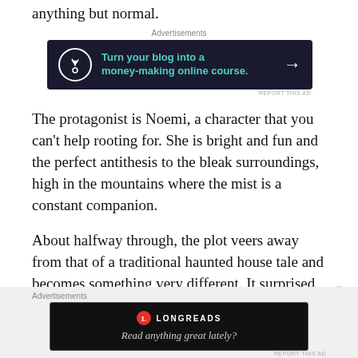anything but normal.
[Figure (infographic): Advertisement banner: dark navy background with bonsai tree icon in circle, teal text reading 'Turn your blog into a money-making online course.' with white arrow]
The protagonist is Noemi, a character that you can't help rooting for. She is bright and fun and the perfect antithesis to the bleak surroundings, high in the mountains where the mist is a constant companion.
About halfway through, the plot veers away from that of a traditional haunted house tale and becomes something very different. It surprised me, but I loved it. The plot is imaginative and brave,
[Figure (infographic): Advertisement banner: black background with Longreads logo and text 'Read anything great lately?']